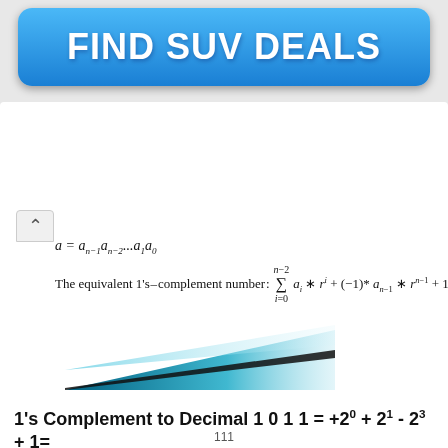[Figure (other): Blue gradient advertisement banner with text FIND SUV DEALS in white bold letters]
[Figure (illustration): Decorative triangular gradient shape in teal and black for slide design]
1's Complement to Decimal 1 0 1 1 = +20 + 21 - 23 + 1= - 4
1's Complement(cont.)
We have two values for zero: +0 and -0
Summation of two numbers:
if a carrier value is generated, add it with the result
111